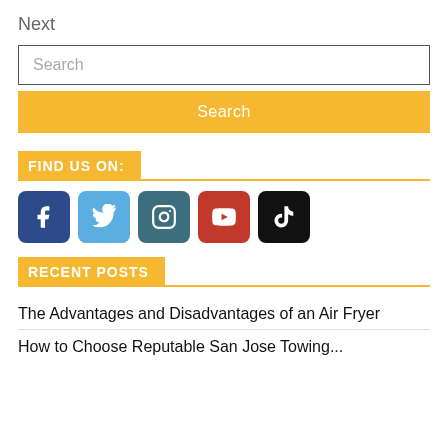Next
Search
Search
FIND US ON:
[Figure (infographic): Social media icons: Facebook (dark blue), Twitter (light blue), Instagram (teal), YouTube (red), TikTok (black)]
RECENT POSTS
The Advantages and Disadvantages of an Air Fryer
How to Choose Reputable San Jose Towing...